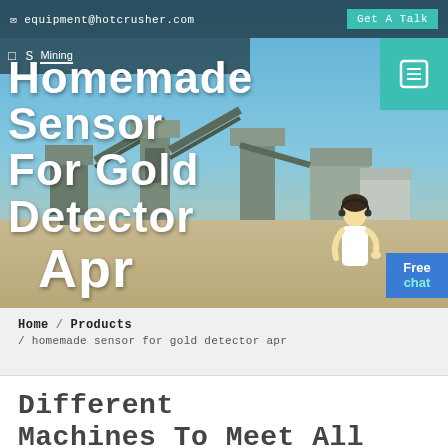equipment@hotcrusher.com  Get A Talk
[Figure (photo): Mining equipment site with conveyor belts, crushers, and processing machinery under a blue sky. Large white bold text overlay reads 'Homemade Sensor For Gold Detector Apr'. Navigation bar overlay shows search icon and Mining label. Teal box in top right. Free chat button and customer service representative figure on right side.]
Home / Products / homemade sensor for gold detector apr
Different Machines To Meet All Need